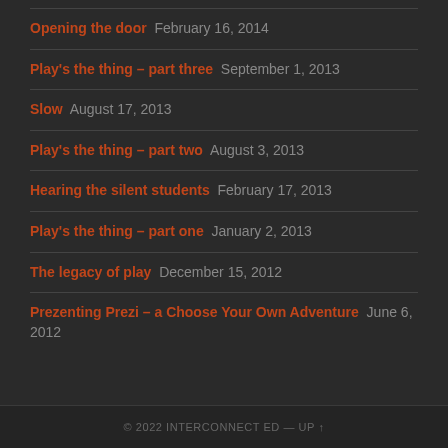Opening the door  February 16, 2014
Play's the thing – part three  September 1, 2013
Slow  August 17, 2013
Play's the thing – part two  August 3, 2013
Hearing the silent students  February 17, 2013
Play's the thing – part one  January 2, 2013
The legacy of play  December 15, 2012
Prezenting Prezi – a Choose Your Own Adventure  June 6, 2012
© 2022 INTERCONNECT ED — UP ↑